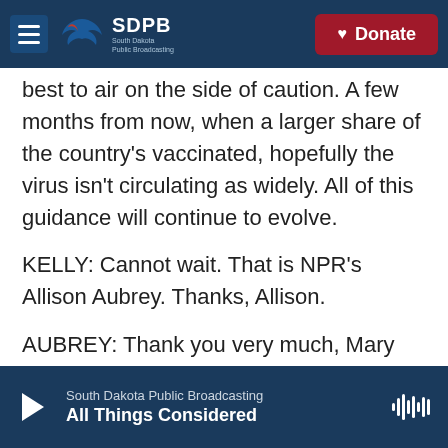SDPB South Dakota Public Broadcasting | Donate
best to air on the side of caution. A few months from now, when a larger share of the country's vaccinated, hopefully the virus isn't circulating as widely. All of this guidance will continue to evolve.
KELLY: Cannot wait. That is NPR's Allison Aubrey. Thanks, Allison.
AUBREY: Thank you very much, Mary Louise. Transcript provided by NPR, Copyright NPR.
Tags  National News
South Dakota Public Broadcasting
All Things Considered